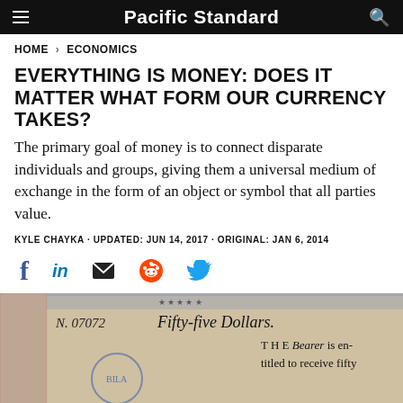Pacific Standard
HOME > ECONOMICS
EVERYTHING IS MONEY: DOES IT MATTER WHAT FORM OUR CURRENCY TAKES?
The primary goal of money is to connect disparate individuals and groups, giving them a universal medium of exchange in the form of an object or symbol that all parties value.
KYLE CHAYKA · UPDATED: JUN 14, 2017 · ORIGINAL: JAN 6, 2014
[Figure (photo): Close-up of an old colonial-era currency note reading 'N. 07072 Fifty-five Dollars. THE Bearer is en-titled to receive fifty...']